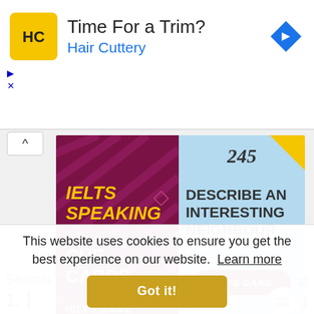[Figure (screenshot): Hair Cuttery advertisement banner with logo, 'Time For a Trim?' headline, 'Hair Cuttery' subtitle in blue, and a blue navigation arrow icon on the right]
[Figure (screenshot): IELTS Speaking Cue Cards thumbnail image: left maroon panel with 'IELTS SPEAKING CUE CARDS' in yellow/white bold italic text and 'IELTS GAME' at bottom; right light-blue panel with number '245', 'DESCRIBE AN INTERESTING NEIGHBOUR' in dark bold text, 'IELTS GAME' badge in maroon oval, and circular IELTS GAME logo]
This website uses cookies to ensure you get the best experience on our website.  Learn more
Got it!